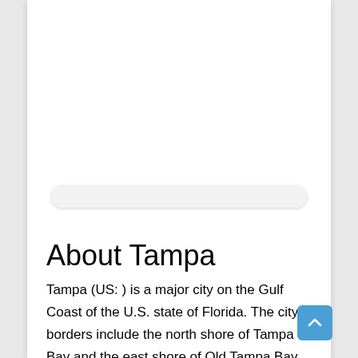[Figure (other): Search bar UI element — a rounded rectangle input bar with light gray background]
About Tampa
Tampa (US: ) is a major city on the Gulf Coast of the U.S. state of Florida. The city's borders include the north shore of Tampa Bay and the east shore of Old Tampa Bay. Tampa is the largest city in the Tampa Bay area and the